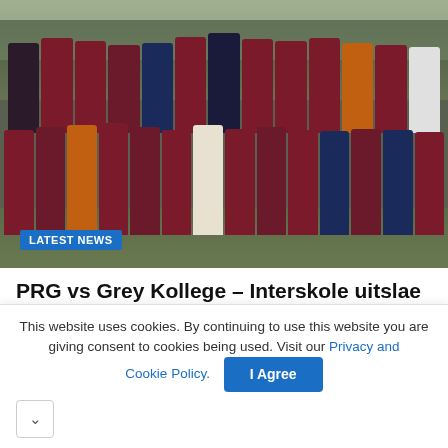[Figure (photo): Team photo of youth soccer/football players in red and navy jerseys posing together on a field, with a 'LATEST NEWS' tag overlay in bottom-left corner]
PRG vs Grey Kollege – Interskole uitslae Saterdag 20 Augustus
Aug 25, 2022
This website uses cookies. By continuing to use this website you are giving consent to cookies being used. Visit our Privacy and Cookie Policy.
I Agree